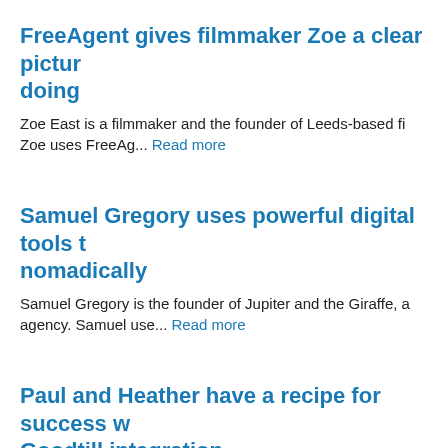FreeAgent gives filmmaker Zoe a clear picture of how she's doing
Zoe East is a filmmaker and the founder of Leeds-based fi... Zoe uses FreeAg... Read more
Samuel Gregory uses powerful digital tools to work nomadically
Samuel Gregory is the founder of Jupiter and the Giraffe, a... agency. Samuel use... Read more
Paul and Heather have a recipe for success with Goodtill integration